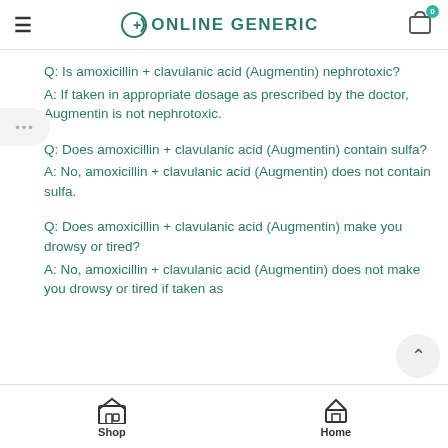≡ ONLINE GENERIC
Q: Is amoxicillin + clavulanic acid (Augmentin) nephrotoxic?
A: If taken in appropriate dosage as prescribed by the doctor, Augmentin is not nephrotoxic.
Q: Does amoxicillin + clavulanic acid (Augmentin) contain sulfa?
A: No, amoxicillin + clavulanic acid (Augmentin) does not contain sulfa.
Q: Does amoxicillin + clavulanic acid (Augmentin) make you drowsy or tired?
A: No, amoxicillin + clavulanic acid (Augmentin) does not make you drowsy or tired if taken as
Shop  Home